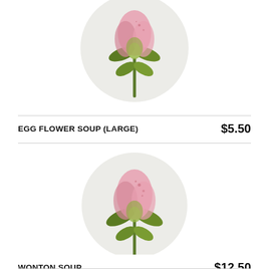[Figure (illustration): Watercolor illustration of a pink flower bud with green leaves on a light grey circular background, partially cropped at top]
EGG FLOWER SOUP (LARGE)
$5.50
[Figure (illustration): Watercolor illustration of a pink flower bud with green leaves on a light grey circular background]
WONTON SOUP
$12.50